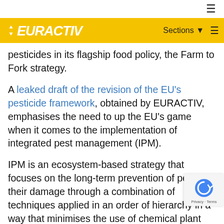EURACTIV — Sections ≡
pesticides in its flagship food policy, the Farm to Fork strategy.
A leaked draft of the revision of the EU's pesticide framework, obtained by EURACTIV, emphasises the need to up the EU's game when it comes to the implementation of integrated pest management (IPM).
IPM is an ecosystem-based strategy that focuses on the long-term prevention of pests or their damage through a combination of techniques applied in an order of hierarchy in a way that minimises the use of chemical plant protection products to the greatest extent possible.
Although applying IPM principles is already a